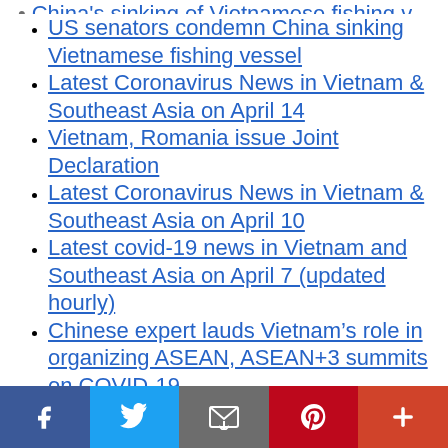China's sinking of Vietnamese fishing vessel (truncated at top)
US senators condemn China sinking Vietnamese fishing vessel
Latest Coronavirus News in Vietnam & Southeast Asia on April 14
Vietnam, Romania issue Joint Declaration
Latest Coronavirus News in Vietnam & Southeast Asia on April 10
Latest covid-19 news in Vietnam and Southeast Asia on April 7 (updated hourly)
Chinese expert lauds Vietnam’s role in organizing ASEAN, ASEAN+3 summits on COVID-19
Xi says China ready to continue supporting (truncated at bottom)